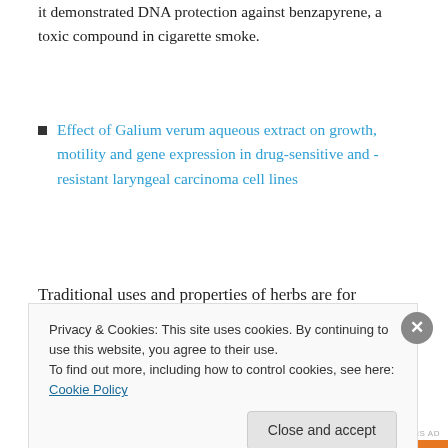it demonstrated DNA protection against benzapyrene, a toxic compound in cigarette smoke.
Effect of Galium verum aqueous extract on growth, motility and gene expression in drug-sensitive and -resistant laryngeal carcinoma cell lines
[Figure (other): Automattic advertisement: 'Build a better web and a better world.']
Traditional uses and properties of herbs are for
Privacy & Cookies: This site uses cookies. By continuing to use this website, you agree to their use.
To find out more, including how to control cookies, see here: Cookie Policy
Close and accept